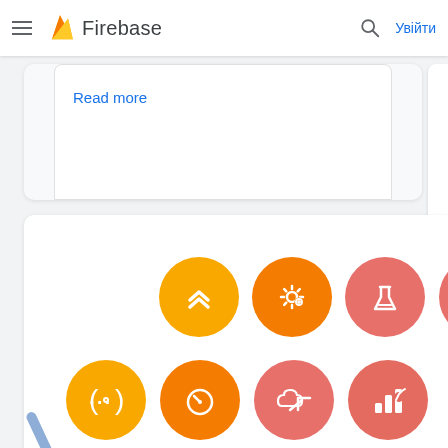Firebase — Увійти
Read more
[Figure (screenshot): Firebase product icon grid showing circular colored icons: chevron/signal icon (yellow), settings/gear icon (orange), lab flask icon (salmon/coral), parentheses code icon (yellow), speedometer icon (orange), cloud upload icon (salmon), bar chart icon (coral), face/emoji icon (yellow), globe icon (orange), refresh/export icon (orange), corner arrow icon (coral)]